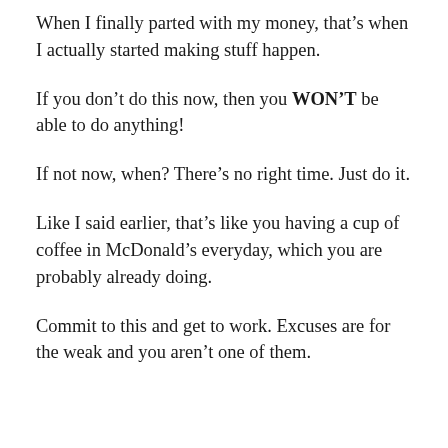When I finally parted with my money, that's when I actually started making stuff happen.
If you don't do this now, then you WON'T be able to do anything!
If not now, when? There's no right time. Just do it.
Like I said earlier, that's like you having a cup of coffee in McDonald's everyday, which you are probably already doing.
Commit to this and get to work. Excuses are for the weak and you aren't one of them.